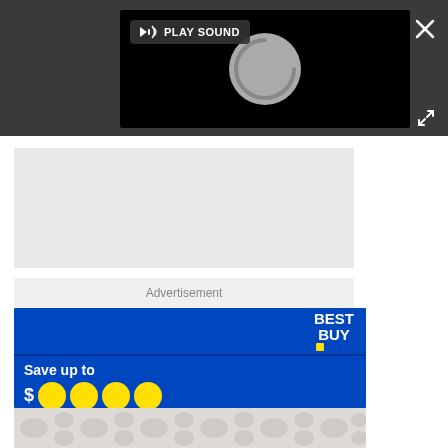[Figure (screenshot): Dark gray overlay bar with embedded video player showing a spinner/loading circle and a 'PLAY SOUND' button with speaker icon. Close (X) and expand arrows icons are visible on the right side.]
[Figure (screenshot): Light gray content placeholder block below the video overlay.]
Advertisement
[Figure (screenshot): Best Buy advertisement banner. Top section: blue background with 'BEST BUY.' logo in white with yellow dot. Bottom section: blue background with text 'Save up to' and large yellow circles with dollar sign. Below the ad is a decorative pattern bar.]